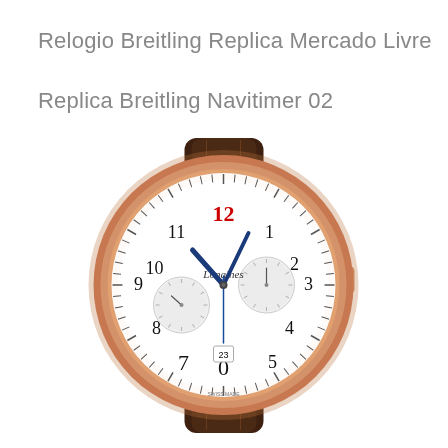Relogio Breitling Replica Mercado Livre
Replica Breitling Navitimer 02
[Figure (photo): A luxury Longines chronograph watch with a rose gold case, white dial featuring Arabic numerals, blue hands, two sub-dials, a date window at 6 o'clock showing '23', red '12' numeral, and a dark brown crocodile leather strap.]